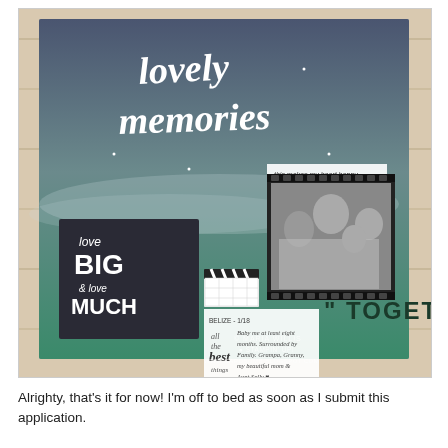[Figure (photo): A scrapbook layout titled 'lovely memories' with a dark blue-to-green gradient background. Features a black and white family photo, decorative elements including 'love BIG & love MUCH' text block, 'TOGETHER' text, 'this makes my heart happy' label, journal card with handwritten text, film clapperboard accent, and watermark for Maria Willis / Stampin Up / www.cardbomb.blogspot.com]
Alrighty, that's it for now! I'm off to bed as soon as I submit this application.